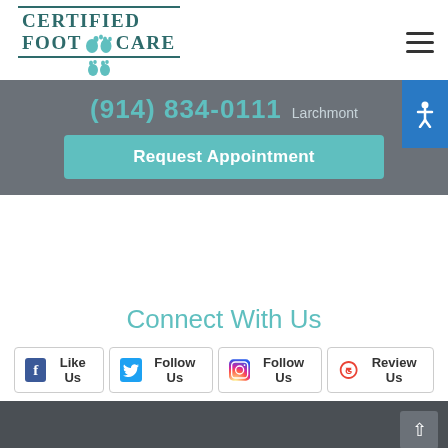[Figure (logo): Certified Foot Care logo with teal footprint icons and serif text]
(914) 834-0111 Larchmont
Request Appointment
Connect With Us
Like Us
Follow Us
Follow Us
Review Us